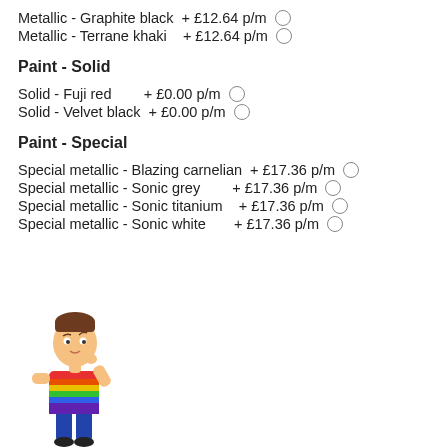Metallic - Graphite black + £12.64 p/m
Metallic - Terrane khaki + £12.64 p/m
Paint - Solid
Solid - Fuji red + £0.00 p/m
Solid - Velvet black + £0.00 p/m
Paint - Special
Special metallic - Blazing carnelian + £17.36 p/m
Special metallic - Sonic grey + £17.36 p/m
Special metallic - Sonic titanium + £17.36 p/m
Special metallic - Sonic white + £17.36 p/m
[Figure (illustration): Cartoon character of a person wearing a rainbow-striped shirt standing in a thinking pose]